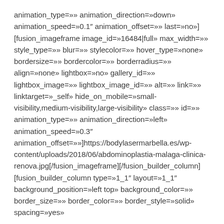animation_type=»» animation_direction=»down» animation_speed=»0.1″ animation_offset=»» last=»no»][fusion_imageframe image_id=»16484|full» max_width=»» style_type=»» blur=»» stylecolor=»» hover_type=»none» bordersize=»» bordercolor=»» borderradius=»» align=»none» lightbox=»no» gallery_id=»» lightbox_image=»» lightbox_image_id=»» alt=»» link=»» linktarget=»_self» hide_on_mobile=»small-visibility,medium-visibility,large-visibility» class=»» id=»» animation_type=»» animation_direction=»left» animation_speed=»0.3″ animation_offset=»»]https://bodylasermarbella.es/wp-content/uploads/2018/06/abdominoplastia-malaga-clinica-renova.jpg[/fusion_imageframe][/fusion_builder_column][fusion_builder_column type=»1_1″ layout=»1_1″ background_position=»left top» background_color=»» border_size=»» border_color=»» border_style=»solid» spacing=»yes»